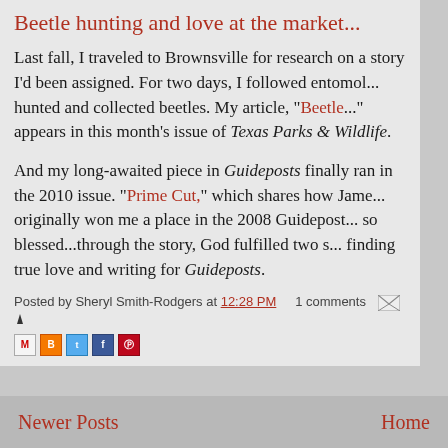Beetle hunting and love at the market...
Last fall, I traveled to Brownsville for research on a story I'd been assigned. For two days, I followed entomologists as they hunted and collected beetles. My article, "Beetle..." appears in this month's issue of Texas Parks & Wildlife.
And my long-awaited piece in Guideposts finally ran in the 2010 issue. "Prime Cut," which shares how James's story originally won me a place in the 2008 Guideposts...so blessed...through the story, God fulfilled two secrets: finding true love and writing for Guideposts.
Posted by Sheryl Smith-Rodgers at 12:28 PM   1 comments
[Figure (other): Blog post share icons: email, Blogger, Twitter, Facebook, Pinterest]
Newer Posts    Home